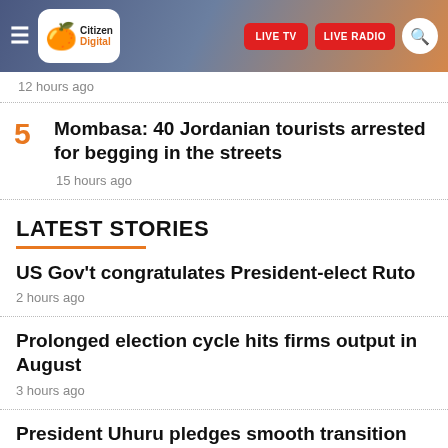Citizen Digital — LIVE TV | LIVE RADIO
12 hours ago
5. Mombasa: 40 Jordanian tourists arrested for begging in the streets — 15 hours ago
LATEST STORIES
US Gov't congratulates President-elect Ruto
2 hours ago
Prolonged election cycle hits firms output in August
3 hours ago
President Uhuru pledges smooth transition but makes no mention of President-elect Ruto
3 hours ago